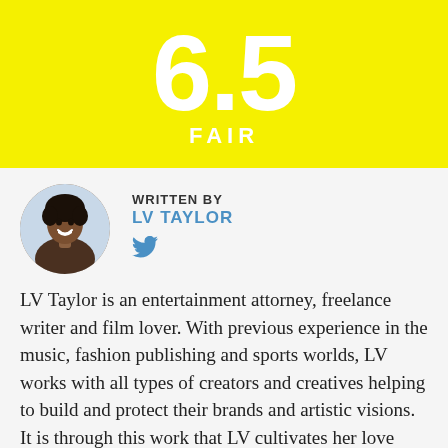6.5 FAIR
WRITTEN BY
LV TAYLOR
[Figure (photo): Circular profile photo of LV Taylor, a woman with curly hair, smiling outdoors]
LV Taylor is an entertainment attorney, freelance writer and film lover. With previous experience in the music, fashion publishing and sports worlds, LV works with all types of creators and creatives helping to build and protect their brands and artistic visions. It is through this work that LV cultivates her love